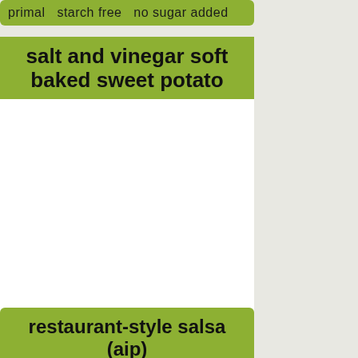primal  starch free  no sugar added
salt and vinegar soft baked sweet potato
[Figure (photo): White blank image area for a recipe photo]
biohackers recipes   3
sweet potato  salt  apple cider
comfort food  chips  winter  kid-
restaurant-style salsa (aip)